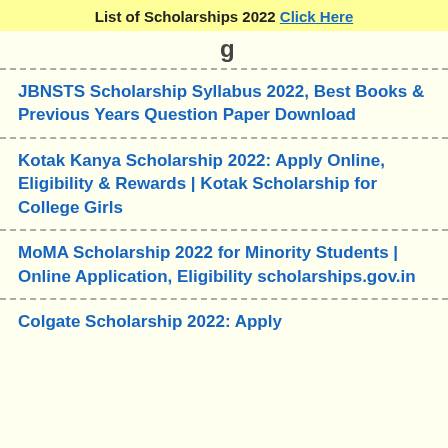List of Scholarships 2022 Click Here
JBNSTS Scholarship Syllabus 2022, Best Books & Previous Years Question Paper Download
Kotak Kanya Scholarship 2022: Apply Online, Eligibility & Rewards | Kotak Scholarship for College Girls
MoMA Scholarship 2022 for Minority Students | Online Application, Eligibility scholarships.gov.in
Colgate Scholarship 2022: Apply